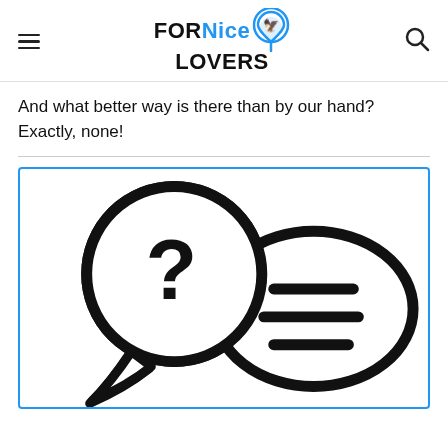FORNice LOVERS
And what better way is there than by our hand? Exactly, none!
[Figure (illustration): Two overlapping speech bubbles: the left one contains a question mark, the right one contains horizontal lines suggesting text. Both are in bold black outline style on white background.]